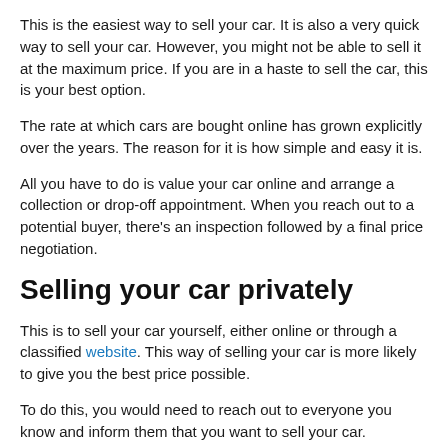This is the easiest way to sell your car. It is also a very quick way to sell your car. However, you might not be able to sell it at the maximum price. If you are in a haste to sell the car, this is your best option.
The rate at which cars are bought online has grown explicitly over the years. The reason for it is how simple and easy it is.
All you have to do is value your car online and arrange a collection or drop-off appointment. When you reach out to a potential buyer, there's an inspection followed by a final price negotiation.
Selling your car privately
This is to sell your car yourself, either online or through a classified website. This way of selling your car is more likely to give you the best price possible.
To do this, you would need to reach out to everyone you know and inform them that you want to sell your car.